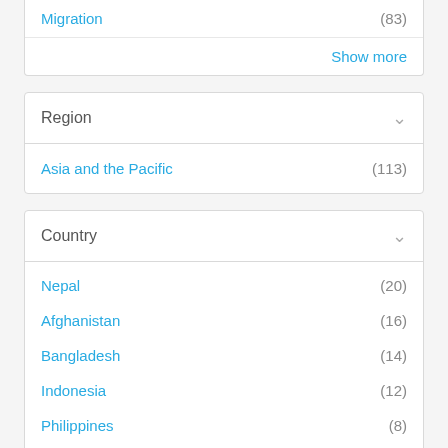Migration (83)
Show more
Region
Asia and the Pacific (113)
Country
Nepal (20)
Afghanistan (16)
Bangladesh (14)
Indonesia (12)
Philippines (8)
Viet Nam (6)
Myanmar (5)
India (2)